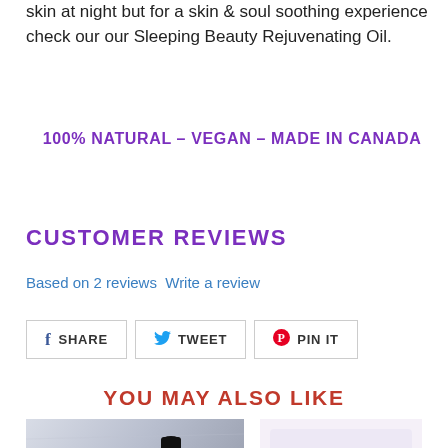skin at night but for a skin & soul soothing experience check our our Sleeping Beauty Rejuvenating Oil.
100% NATURAL – VEGAN – MADE IN CANADA
CUSTOMER REVIEWS
Based on 2 reviews  Write a review
[Figure (screenshot): Social share buttons: SHARE (Facebook), TWEET (Twitter), PIN IT (Pinterest)]
YOU MAY ALSO LIKE
[Figure (photo): Photo of a blue dropper bottle product (Sleeping Beauty Rejuvenating Oil) with a black dropper cap on a light fabric background]
[Figure (photo): Partial light pink/lavender product image on the right side]